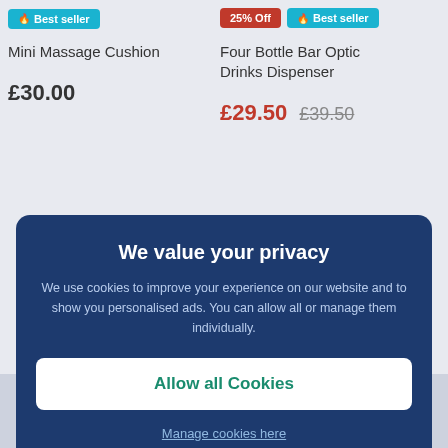[Figure (screenshot): Best seller badge in teal/cyan color with flame icon]
Mini Massage Cushion
£30.00
[Figure (screenshot): 25% Off badge in red and Best seller badge in teal]
Four Bottle Bar Optic Drinks Dispenser
£29.50  £39.50
We value your privacy
We use cookies to improve your experience on our website and to show you personalised ads. You can allow all or manage them individually.
Allow all Cookies
Manage cookies here
0333 240 5733
Mon-Fri: 9:00am to 5:30pm
Sat: Closed
Sun: Closed